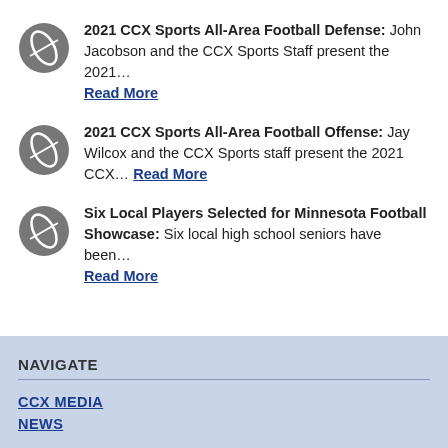2021 CCX Sports All-Area Football Defense: John Jacobson and the CCX Sports Staff present the 2021… Read More
2021 CCX Sports All-Area Football Offense: Jay Wilcox and the CCX Sports staff present the 2021 CCX… Read More
Six Local Players Selected for Minnesota Football Showcase: Six local high school seniors have been… Read More
NAVIGATE
CCX MEDIA
NEWS